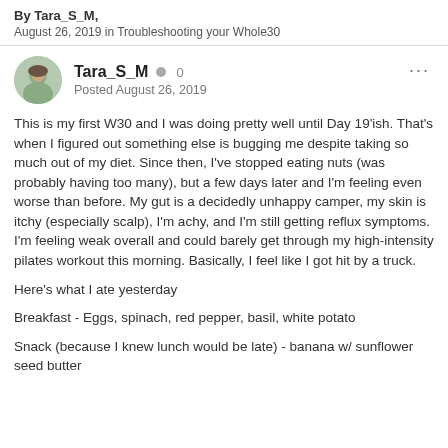By Tara_S_M, August 26, 2019 in Troubleshooting your Whole30
Tara_S_M 0 Posted August 26, 2019
This is my first W30 and I was doing pretty well until Day 19'ish. That's when I figured out something else is bugging me despite taking so much out of my diet. Since then, I've stopped eating nuts (was probably having too many), but a few days later and I'm feeling even worse than before. My gut is a decidedly unhappy camper, my skin is itchy (especially scalp), I'm achy, and I'm still getting reflux symptoms. I'm feeling weak overall and could barely get through my high-intensity pilates workout this morning. Basically, I feel like I got hit by a truck.
Here's what I ate yesterday
Breakfast - Eggs, spinach, red pepper, basil, white potato
Snack (because I knew lunch would be late) - banana w/ sunflower seed butter